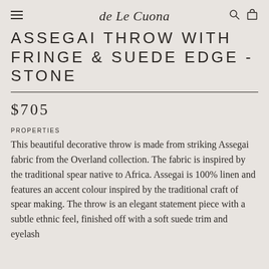de Le Cuona
ASSEGAI THROW WITH FRINGE & SUEDE EDGE - STONE
$705
PROPERTIES
This beautiful decorative throw is made from striking Assegai fabric from the Overland collection. The fabric is inspired by the traditional spear native to Africa. Assegai is 100% linen and features an accent colour inspired by the traditional craft of spear making. The throw is an elegant statement piece with a subtle ethnic feel, finished off with a soft suede trim and eyelash fringe.